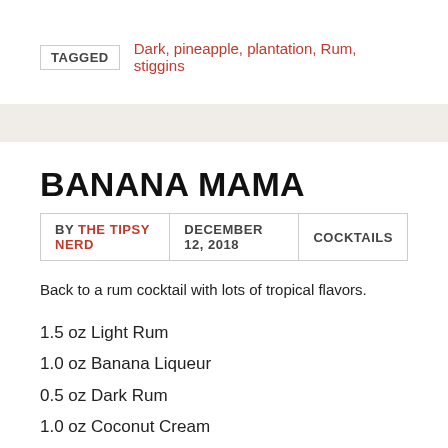TAGGED  Dark, pineapple, plantation, Rum, stiggins
BANANA MAMA
BY THE TIPSY NERD  |  DECEMBER 12, 2018  |  COCKTAILS
Back to a rum cocktail with lots of tropical flavors.
1.5 oz Light Rum
1.0 oz Banana Liqueur
0.5 oz Dark Rum
1.0 oz Coconut Cream